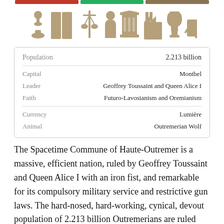[Figure (infographic): Row of colored bars (red, green, olive) at top of page]
[Figure (infographic): Row of tan/olive icons: chess piece, newspaper, scales, person, building/columns, factory, trophy, chart line, cards/tickets]
| Population | 2.213 billion |
| Capital | Montbel |
| Leader | Geoffrey Toussaint and Queen Alice I |
| Faith | Futuro-Lavosianism and Oremianism |
| Currency | Lumière |
| Animal | Outremerian Wolf |
The Spacetime Commune of Haute-Outremer is a massive, efficient nation, ruled by Geoffrey Toussaint and Queen Alice I with an iron fist, and remarkable for its compulsory military service and restrictive gun laws. The hard-nosed, hard-working, cynical, devout population of 2.213 billion Outremerians are ruled with an iron fist by the corrupt, dictatorship government, which oppresses anyone who isn't on the board of a Fortune 500 company. Large corporations tend to be above the law, and use their financial clout to gain ever-